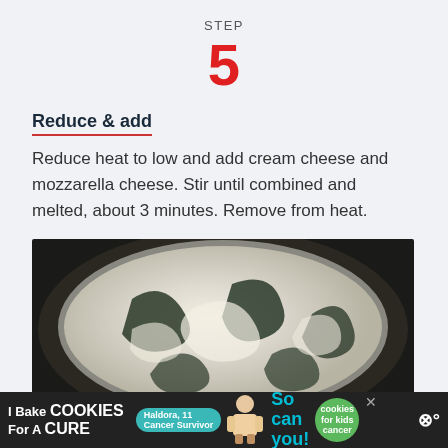STEP
5
Reduce & add
Reduce heat to low and add cream cheese and mozzarella cheese. Stir until combined and melted, about 3 minutes. Remove from heat.
[Figure (photo): Overhead photo of a pan with cream cheese and mozzarella melting into a creamy spinach mixture, showing white swirls of melting cheese stirred into dark green spinach.]
[Figure (other): Advertisement banner: 'I Bake COOKIES For A CURE' with Haldora, 11 Cancer Survivor badge, a person photo, 'So can you!' text, and cookies for kids cancer logo. Close button visible.]